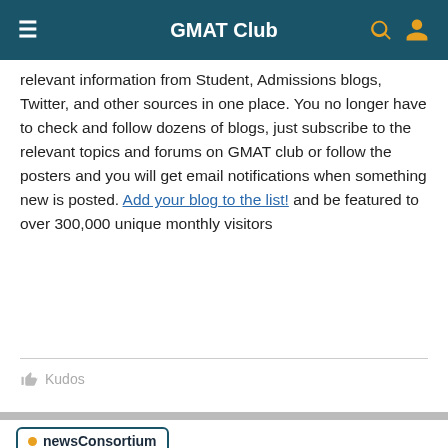GMAT Club
relevant information from Student, Admissions blogs, Twitter, and other sources in one place. You no longer have to check and follow dozens of blogs, just subscribe to the relevant topics and forums on GMAT club or follow the posters and you will get email notifications when something new is posted. Add your blog to the list! and be featured to over 300,000 unique monthly visitors
Kudos
newsConsortium
Jun 17, 2019
[Figure (photo): UNC Kenan-Flagler Business School advertisement: INSPIRE AND BE INSPIRED. THE FULL-TIME MBA. LEARN MORE.]